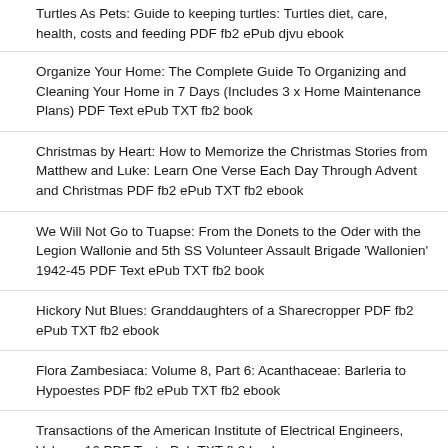Turtles As Pets: Guide to keeping turtles: Turtles diet, care, health, costs and feeding PDF fb2 ePub djvu ebook
Organize Your Home: The Complete Guide To Organizing and Cleaning Your Home in 7 Days (Includes 3 x Home Maintenance Plans) PDF Text ePub TXT fb2 book
Christmas by Heart: How to Memorize the Christmas Stories from Matthew and Luke: Learn One Verse Each Day Through Advent and Christmas PDF fb2 ePub TXT fb2 ebook
We Will Not Go to Tuapse: From the Donets to the Oder with the Legion Wallonie and 5th SS Volunteer Assault Brigade 'Wallonien' 1942-45 PDF Text ePub TXT fb2 book
Hickory Nut Blues: Granddaughters of a Sharecropper PDF fb2 ePub TXT fb2 ebook
Flora Zambesiaca: Volume 8, Part 6: Acanthaceae: Barleria to Hypoestes PDF fb2 ePub TXT fb2 ebook
Transactions of the American Institute of Electrical Engineers, Volume 16 PDF Text ePub TXT fb2 book